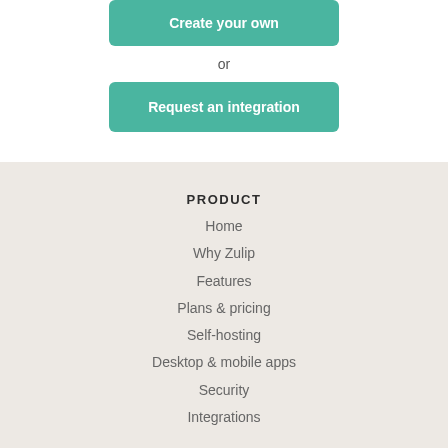Create your own
or
Request an integration
PRODUCT
Home
Why Zulip
Features
Plans & pricing
Self-hosting
Desktop & mobile apps
Security
Integrations
SOLUTIONS
Business